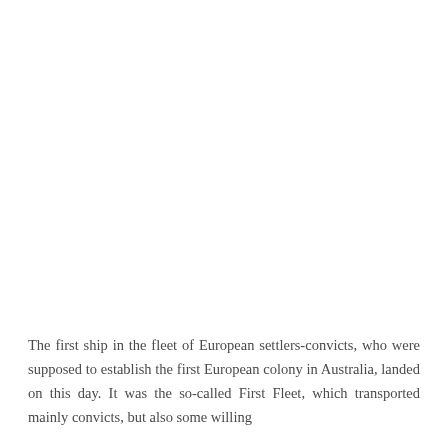The first ship in the fleet of European settlers-convicts, who were supposed to establish the first European colony in Australia, landed on this day. It was the so-called First Fleet, which transported mainly convicts, but also some willing